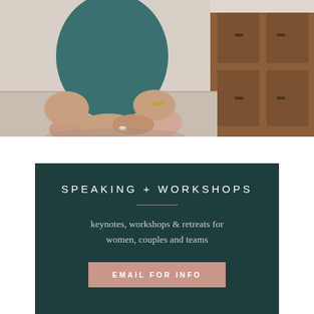[Figure (photo): A woman in a teal top and light pink pants sitting cross-legged on a wooden surface, with a wooden dresser in the background. Only her torso, hands, and legs are visible.]
SPEAKING + WORKSHOPS
keynotes, workshops & retreats for women, couples and teams
EMAIL FOR INFO